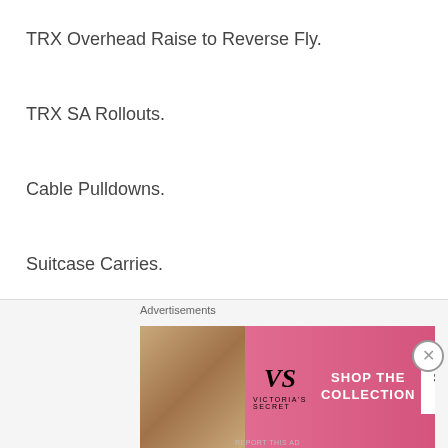TRX Overhead Raise to Reverse Fly.
TRX SA Rollouts.
Cable Pulldowns.
Suitcase Carries.
1/2 Kneeling Windmills.
Turkish Get Up.
Plank Row.
3RD Loading Row/Trap Bar Row (partially visible)
[Figure (other): Victoria's Secret advertisement banner with model photo, VS logo, 'SHOP THE COLLECTION' text, and 'SHOP NOW' button]